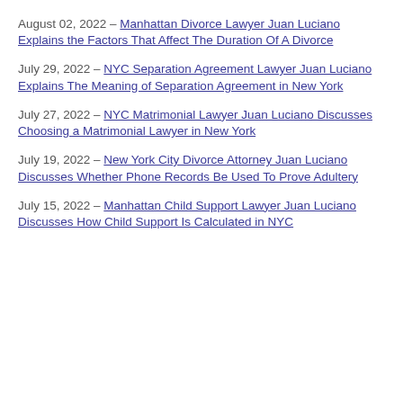August 02, 2022 – Manhattan Divorce Lawyer Juan Luciano Explains the Factors That Affect The Duration Of A Divorce
July 29, 2022 – NYC Separation Agreement Lawyer Juan Luciano Explains The Meaning of Separation Agreement in New York
July 27, 2022 – NYC Matrimonial Lawyer Juan Luciano Discusses Choosing a Matrimonial Lawyer in New York
July 19, 2022 – New York City Divorce Attorney Juan Luciano Discusses Whether Phone Records Be Used To Prove Adultery
July 15, 2022 – Manhattan Child Support Lawyer Juan Luciano Discusses How Child Support Is Calculated in NYC